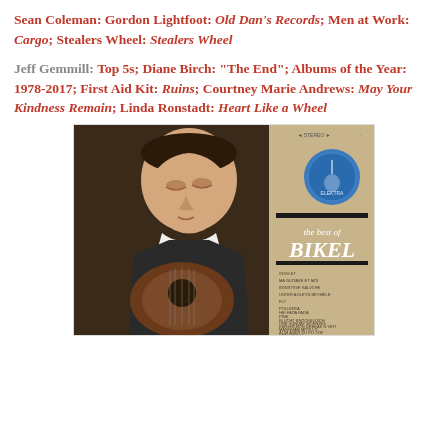Sean Coleman: Gordon Lightfoot: Old Dan's Records; Men at Work: Cargo; Stealers Wheel: Stealers Wheel
Jeff Gemmill: Top 5s; Diane Birch: "The End";  Albums of the Year: 1978-2017; First Aid Kit: Ruins; Courtney Marie Andrews: May Your Kindness Remain; Linda Ronstadt: Heart Like a Wheel
[Figure (photo): Album cover for 'The Best of Bikel' showing a man playing guitar against a tan/beige background with a blue circular logo and tracklist text.]